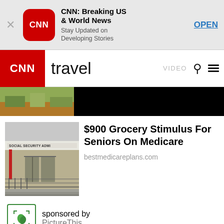[Figure (screenshot): App store banner for CNN: Breaking US & World News app with red CNN icon, OPEN link, and close X button on grey background]
CNN travel  VIDEO
[Figure (photo): Partial outdoor landscape photo strip at top of article feed]
[Figure (photo): Social Security Administration building exterior photo]
$900 Grocery Stimulus For Seniors On Medicare
bestmedicareplans.com
sponsored by PictureThis